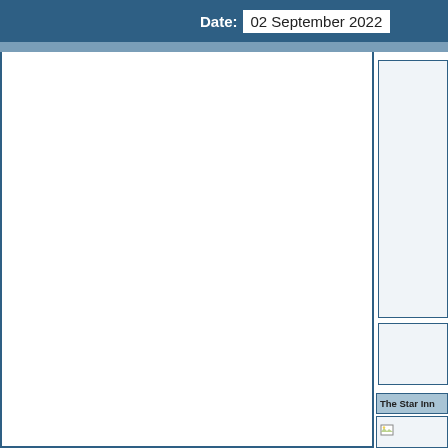Date: 02 September 2022
[Figure (other): Large white content area with blue border on left panel]
[Figure (other): Right column upper box - empty light blue/grey box]
[Figure (other): Right column middle box - empty light blue/grey box]
The Star Inn
[Figure (photo): The Star Inn Inn - image with broken image icon placeholder]